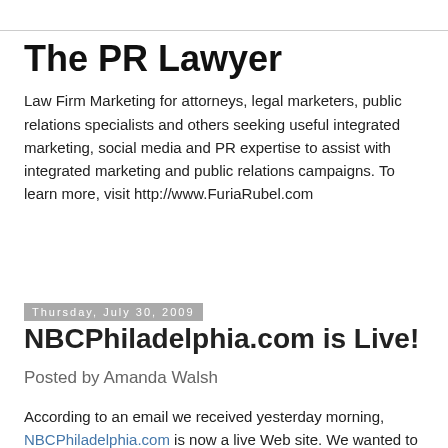The PR Lawyer
Law Firm Marketing for attorneys, legal marketers, public relations specialists and others seeking useful integrated marketing, social media and PR expertise to assist with integrated marketing and public relations campaigns. To learn more, visit http://www.FuriaRubel.com
Thursday, July 30, 2009
NBCPhiladelphia.com is Live!
Posted by Amanda Walsh
According to an email we received yesterday morning, NBCPhiladelphia.com is now a live Web site. We wanted to share some of the new features on the site with ThePRLawyer's readers. NBC seems to have positioned the news site as a social media tool that combines news, entertainment and events going on in and around